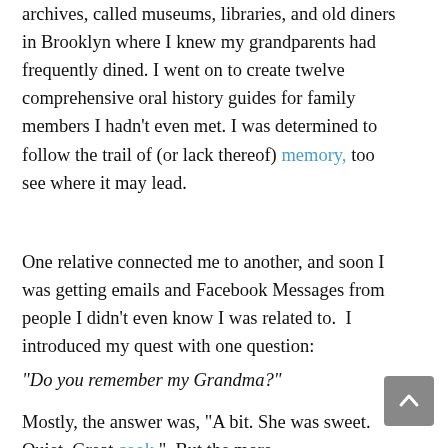archives, called museums, libraries, and old diners in Brooklyn where I knew my grandparents had frequently dined. I went on to create twelve comprehensive oral history guides for family members I hadn't even met. I was determined to follow the trail of (or lack thereof) memory, too see where it may lead.
One relative connected me to another, and soon I was getting emails and Facebook Messages from people I didn't even know I was related to.  I introduced my quest with one question:
“Do you remember my Grandma?”
Mostly, the answer was, “A bit. She was sweet. Quiet. Great cook.”  But the more